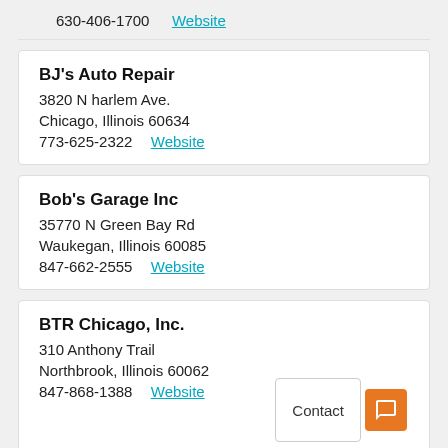630-406-1700   Website
BJ's Auto Repair
3820 N harlem Ave.
Chicago, Illinois 60634
773-625-2322   Website
Bob's Garage Inc
35770 N Green Bay Rd
Waukegan, Illinois 60085
847-662-2555   Website
BTR Chicago, Inc.
310 Anthony Trail
Northbrook, Illinois 60062
847-868-1388   Website